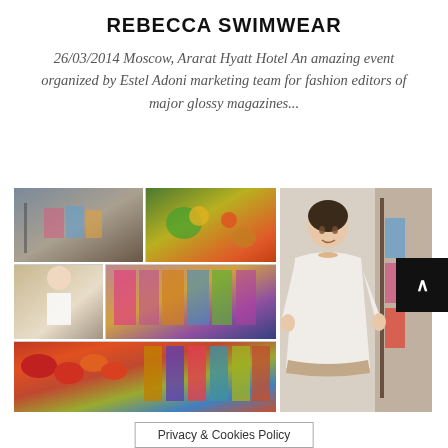REBECCA SWIMWEAR
26/03/2014 Moscow, Ararat Hyatt Hotel An amazing event organized by Estel Adoni marketing team for fashion editors of major glossy magazines...
[Figure (photo): Collage of fashion event photos at Ararat Hyatt Hotel Moscow showing swimwear on racks, flowers, models, and colorful garments, plus a model wearing a white kaftan-style swimwear cover-up]
Privacy & Cookies Policy